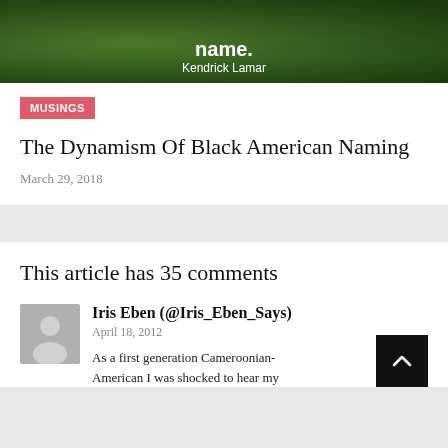[Figure (photo): A nature/forest scene image with text overlay reading 'name.' and 'Kendrick Lamar']
MUSINGS
The Dynamism Of Black American Naming
March 29, 2018
This article has 35 comments
Iris Eben (@Iris_Eben_Says)
April 18, 2012
As a first generation Cameroonian-American I was shocked to hear my